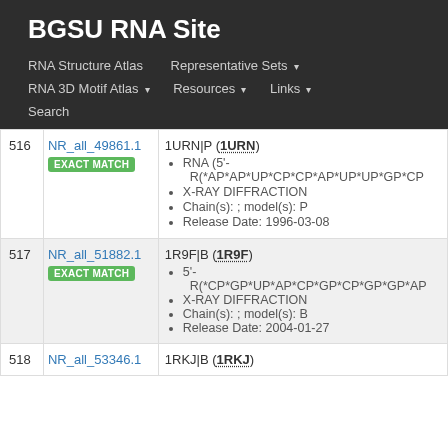BGSU RNA Site
RNA Structure Atlas | Representative Sets ▾ | RNA 3D Motif Atlas ▾ | Resources ▾ | Links ▾ | Search
| # | ID | Details |
| --- | --- | --- |
| 516 | NR_all_49861.1
EXACT MATCH | 1URN|P (1URN)
• RNA (5'-R(*AP*AP*UP*CP*CP*AP*UP*UP*GP*CP...
• X-RAY DIFFRACTION
• Chain(s): ; model(s): P
• Release Date: 1996-03-08 |
| 517 | NR_all_51882.1
EXACT MATCH | 1R9F|B (1R9F)
• 5'-R(*CP*GP*UP*AP*CP*GP*CP*GP*GP*AP...
• X-RAY DIFFRACTION
• Chain(s): ; model(s): B
• Release Date: 2004-01-27 |
| 518 | NR_all_53346.1 | 1RKJ|B (1RKJ) |